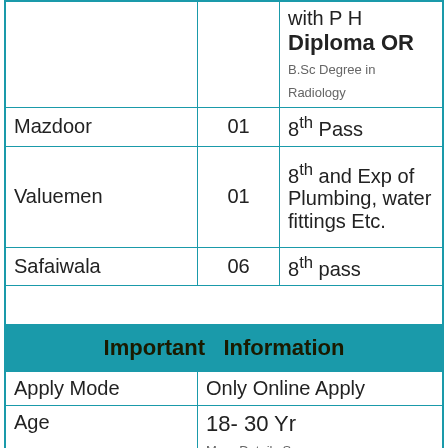| Post | Vacancies | Qualification |
| --- | --- | --- |
|  |  | with P H Diploma OR B.Sc Degree in Radiology |
| Mazdoor | 01 | 8th Pass |
| Valuemen | 01 | 8th and Exp of Plumbing, water fittings Etc. |
| Safaiwala | 06 | 8th pass |
|  |  |  |
| Important Information |  |  |
| Apply Mode |  | Only Online Apply |
| Age |  | 18- 30 Yr
More Details See Notification |
| Selection Procedure |  | Written Test (OMR) Skill Test or PET |
| Download Poster |  | Download |